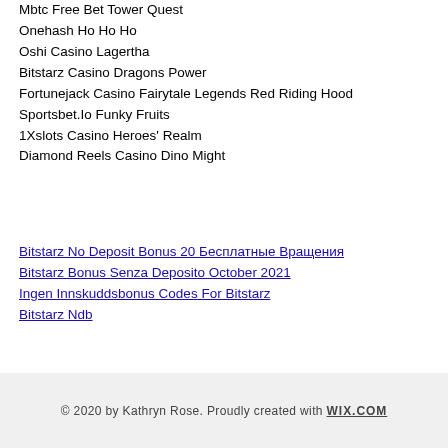Mbtc Free Bet Tower Quest
Onehash Ho Ho Ho
Oshi Casino Lagertha
Bitstarz Casino Dragons Power
Fortunejack Casino Fairytale Legends Red Riding Hood
Sportsbet.Io Funky Fruits
1Xslots Casino Heroes&#X27; Realm
Diamond Reels Casino Dino Might
Bitstarz No Deposit Bonus 20 Бесплатные Вращения
Bitstarz Bonus Senza Deposito October 2021
Ingen Innskuddsbonus Codes For Bitstarz
Bitstarz Ndb
© 2020 by Kathryn Rose. Proudly created with WIX.COM